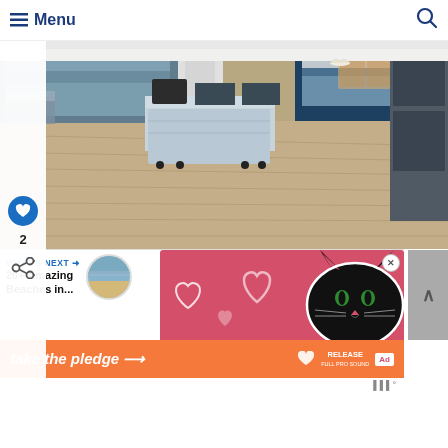Menu
[Figure (photo): Interior of a museum or visitor center showing a wide open room with hardwood-style flooring, a blue accent wall with a large coastal photograph, display cases and exhibits, and a central white island/kiosk on wheels with items on top.]
2
[Figure (infographic): Advertisement banner with pink/red background showing a black cat face, hearts decorations, and a 'What's Next' link to '20+ Amazing Beaches in...' with a thumbnail image of a beach.]
[Figure (infographic): Orange banner advertisement reading 'take the pledge →' with a RELEASE logo and ad icon.]